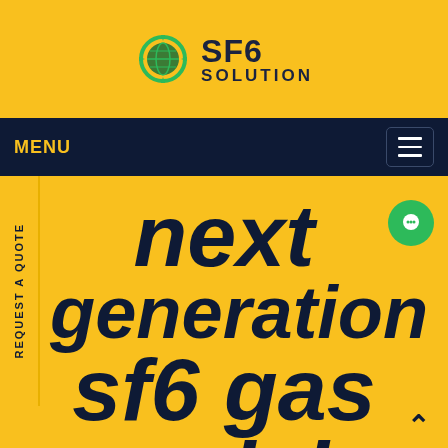[Figure (logo): SF6 Solution logo with green circular recycling arrow icon around a globe, text 'SF6' in large bold dark navy and 'SOLUTION' in smaller bold dark navy letters]
MENU
[Figure (other): Hamburger menu button (three horizontal lines) in top-right of dark navy navigation bar]
REQUEST A QUOTE
next generation sf6 gas servicing
[Figure (other): Green circle chat/message icon button on the right side]